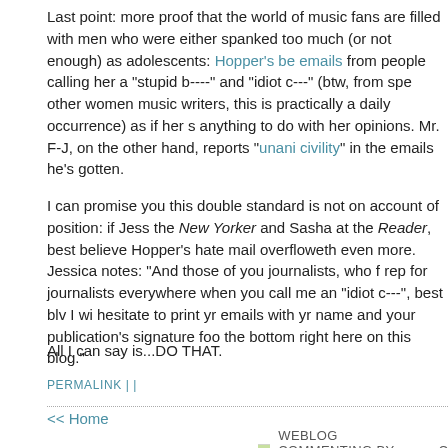Last point: more proof that the world of music fans are filled with men who were either spanked too much (or not enough) as adolescents: Hopper's be emails from people calling her a "stupid b----" and "idiot c---" (btw, from spe other women music writers, this is practically a daily occurrence) as if her s anything to do with her opinions. Mr. F-J, on the other hand, reports "unani civility" in the emails he's gotten.
I can promise you this double standard is not on account of position: if Jess the New Yorker and Sasha at the Reader, best believe Hopper's hate mail overfloweth even more. Jessica notes: "And those of you journalists, who f rep for journalists everywhere when you call me an "idiot c---", best blv I wi hesitate to print yr emails with yr name and your publication's signature foo the bottom right here on this blog."
All I can say is...DO THAT.
PERMALINK | |
<< Home
[Figure (logo): WEBLOG COMMENTING BY HALOSCAN badge/logo image]